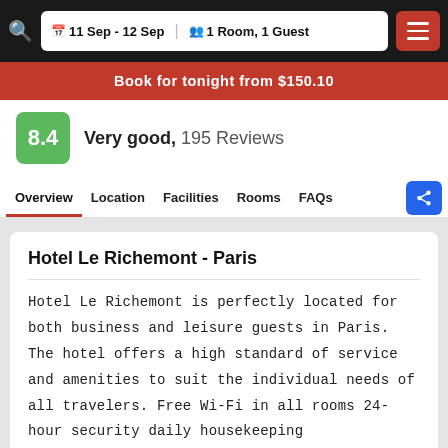11 Sep - 12 Sep  1 Room, 1 Guest
Book for tonight from $150.10
8.4  Very good,  195 Reviews
Overview  Location  Facilities  Rooms  FAQs
Hotel Le Richemont - Paris
Hotel Le Richemont is perfectly located for both business and leisure guests in Paris. The hotel offers a high standard of service and amenities to suit the individual needs of all travelers. Free Wi-Fi in all rooms 24-hour security daily housekeeping gift/souvenir shop photocopying are just some of the facilities on offer.
Designed for comfort selected guestrooms offer